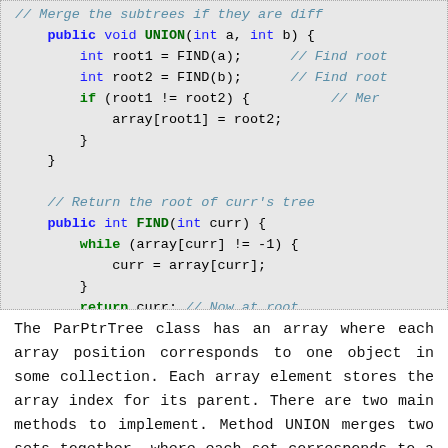[Figure (screenshot): Java code snippet showing UNION and FIND methods of a ParPtrTree class. UNION merges two subtrees, FIND returns the root of a node's tree.]
The ParPtrTree class has an array where each array position corresponds to one object in some collection. Each array element stores the array index for its parent. There are two main methods to implement. Method UNION merges two sets together, where each set corresponds to a tree.